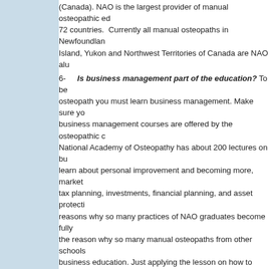(Canada). NAO is the largest provider of manual osteopathic education in 72 countries. Currently all manual osteopaths in Newfoundland, Prince Edward Island, Yukon and Northwest Territories of Canada are NAO alumni.
6- Is business management part of the education? To be a successful osteopath you must learn business management. Make sure your school's business management courses are offered by the osteopathic college. The National Academy of Osteopathy has about 200 lectures on business. You learn about personal improvement and becoming more, marketing, accounting, tax planning, investments, financial planning, and asset protection. These are reasons why so many practices of NAO graduates become fully booked. This is the reason why so many manual osteopaths from other schools come to NAO for business education. Just applying the lesson on how to open a successful osteopathy clinic for example will generate over $1800 in tax savings. We strongly believe that to earn more, you have to become more. While the average manual osteopaths in Canada is $90,000, NAO alumni gross about 30-50% more than other manual osteopaths. This is attributed mainly to the education they receive at NAO.
7- Is the school accredited by CMOE & UCOMPE? You should choose a school accredited by the Council on Manual Osteopathy Education (CMOE) of International Osteopathic Association (www.internationalosteopathicassociation.com). This school meets a certain standard in manual osteopathic education. In the United States you should ensure that the school is accredited by the U...